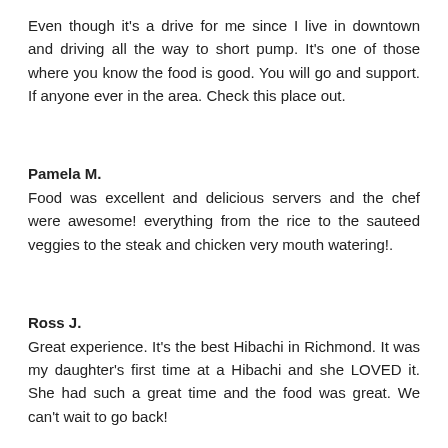Even though it's a drive for me since I live in downtown and driving all the way to short pump. It's one of those where you know the food is good. You will go and support. If anyone ever in the area. Check this place out.
Pamela M.
Food was excellent and delicious servers and the chef were awesome! everything from the rice to the sauteed veggies to the steak and chicken very mouth watering!.
Ross J.
Great experience. It's the best Hibachi in Richmond. It was my daughter's first time at a Hibachi and she LOVED it. She had such a great time and the food was great. We can't wait to go back!
Trish H.